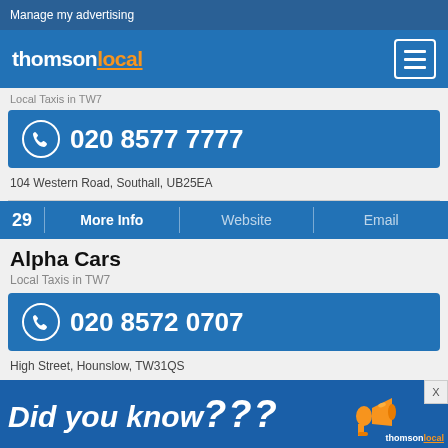Manage my advertising
[Figure (logo): Thomson Local logo with orange underlined 'local' text and menu icon]
Local Taxis in TW7
020 8577 7777
104 Western Road, Southall, UB25EA
29  More Info  |  Website  |  Email
Alpha Cars
Local Taxis in TW7
020 8572 0707
High Street, Hounslow, TW31QS
[Figure (infographic): Did you know??? advertisement banner with megaphone and Thomson Local logo]